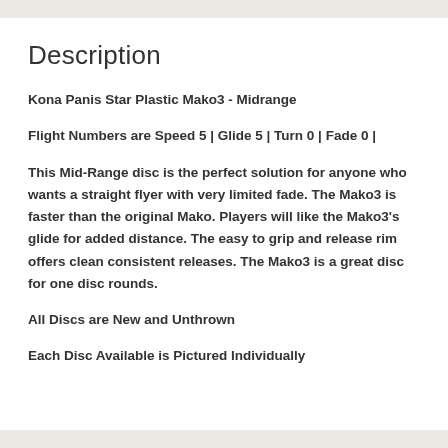Description
Kona Panis Star Plastic Mako3 - Midrange
Flight Numbers are Speed 5 | Glide 5 | Turn 0 | Fade 0 |
This Mid-Range disc is the perfect solution for anyone who wants a straight flyer with very limited fade. The Mako3 is faster than the original Mako. Players will like the Mako3's glide for added distance. The easy to grip and release rim offers clean consistent releases. The Mako3 is a great disc for one disc rounds.
All Discs are New and Unthrown
Each Disc Available is Pictured Individually